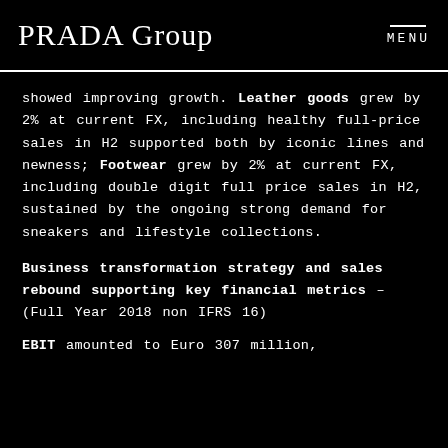PRADA Group  MENU
showed improving growth. Leather goods grew by 2% at current FX, including healthy full-price sales in H2 supported both by iconic lines and newness; Footwear grew by 2% at current FX, including double digit full price sales in H2, sustained by the ongoing strong demand for sneakers and lifestyle collections.
Business transformation strategy and sales rebound supporting key financial metrics – (Full Year 2018 non IFRS 16)
EBIT amounted to Euro 307 million,